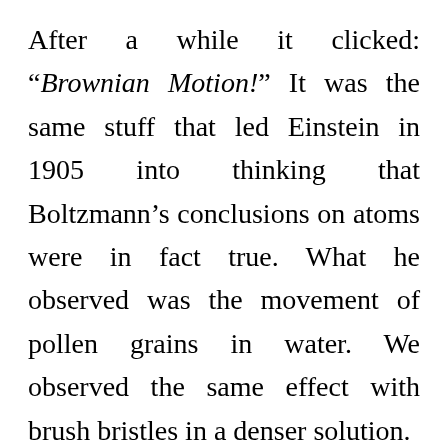After a while it clicked: “Brownian Motion!” It was the same stuff that led Einstein in 1905 into thinking that Boltzmann’s conclusions on atoms were in fact true. What he observed was the movement of pollen grains in water. We observed the same effect with brush bristles in a denser solution.
The puzzle was finally solved. Even though we didn’t invent a formula that gives life, it was enough to cause me headache for many days trying to figure out the meaning of that